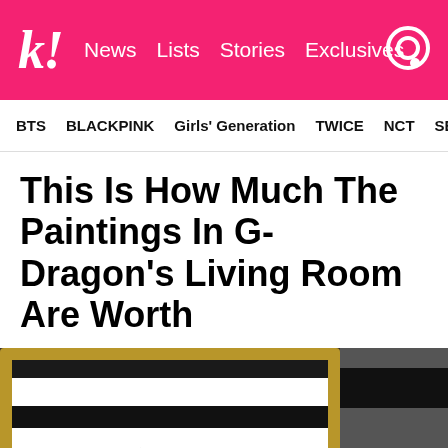k! News  Lists  Stories  Exclusives
BTS  BLACKPINK  Girls' Generation  TWICE  NCT  SEVE
This Is How Much The Paintings In G-Dragon's Living Room Are Worth
[Figure (photo): Person posing next to a large framed painting with black and white stripes, making a peace sign, holding a cigarette]